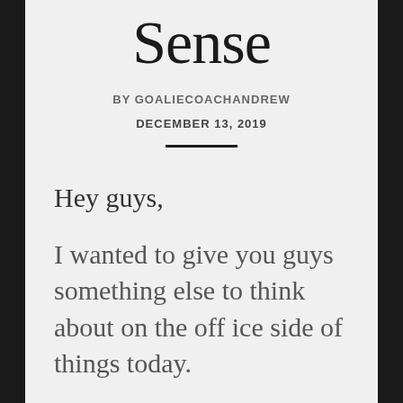Sense
BY GOALIECOACHANDREW
DECEMBER 13, 2019
Hey guys,
I wanted to give you guys something else to think about on the off ice side of things today.